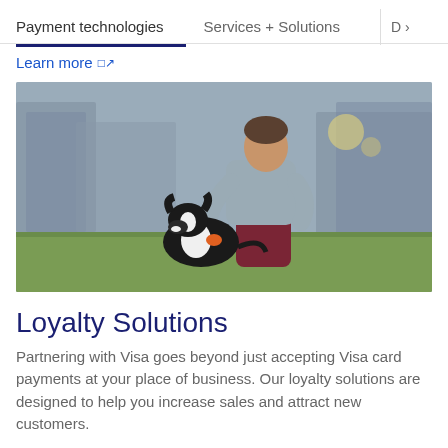Payment technologies   Services + Solutions   D >
Learn more ↗
[Figure (photo): A young man in a grey hoodie and burgundy pants crouching down on grass to interact with a black and white border collie dog, with blurred city buildings in the background.]
Loyalty Solutions
Partnering with Visa goes beyond just accepting Visa card payments at your place of business. Our loyalty solutions are designed to help you increase sales and attract new customers.